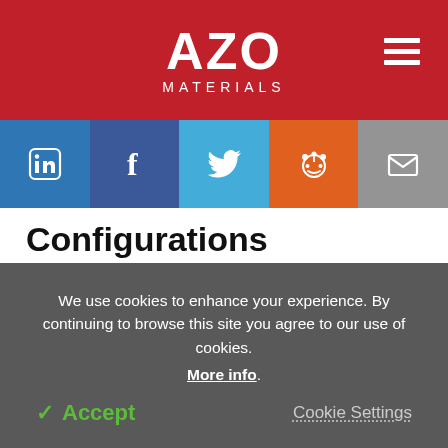AZO MATERIALS
[Figure (infographic): Social sharing bar with LinkedIn, Facebook, Twitter, Reddit, and Email icons]
Configurations
To regulate the temperature of a grinding process, the mill has to be attached to an external tempering device. Fundamentally, there are two choices:
1. Temperature Regulation with Liquid
We use cookies to enhance your experience. By continuing to browse this site you agree to our use of cookies. More info.
✓ Accept   Cookie Settings